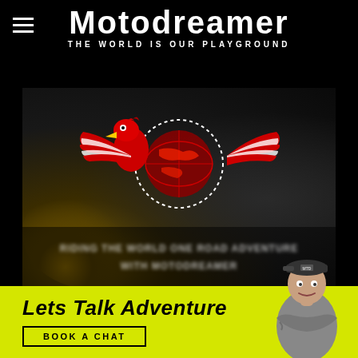Motodreamer — THE WORLD IS OUR PLAYGROUND
[Figure (logo): Motodreamer logo: red eagle with wings spread over a globe, with dotted circular border and American flag-style striped wings, on a dark motorcycle background with blurred overlay text]
Lets Talk Adventure
BOOK A CHAT